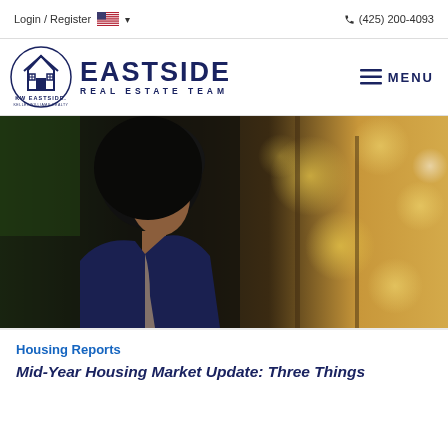Login / Register   (425) 200-4093
[Figure (logo): Eastside Real Estate Team logo with KW Eastside Keller Williams Realty circular badge and EASTSIDE REAL ESTATE TEAM text in navy blue]
[Figure (photo): Woman with natural hair looking upward outdoors, bokeh background with trees and golden light]
Housing Reports
Mid-Year Housing Market Update: Three Things